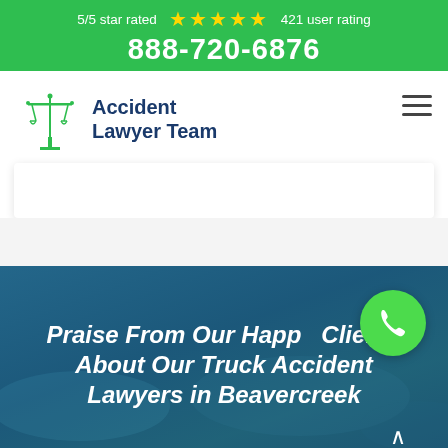5/5 star rated ★★★★★ 421 user rating
888-720-6876
[Figure (logo): Accident Lawyer Team logo with scales of justice icon in green and text in dark blue]
Praise From Our Happy Clients About Our Truck Accident Lawyers in Beavercreek